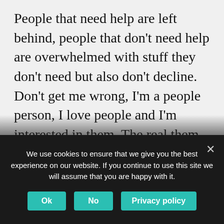People that need help are left behind, people that don't need help are overwhelmed with stuff they don't need but also don't decline. Don't get me wrong, I'm a people person, I love people and I'm interested in them. The real them. It's just the way people act these days what annoys me. The negativity and hate that's in them lately. Open a news website and read the comments at stories that have the subject immigration for instance. So
We use cookies to ensure that we give you the best experience on our website. If you continue to use this site we will assume that you are happy with it.